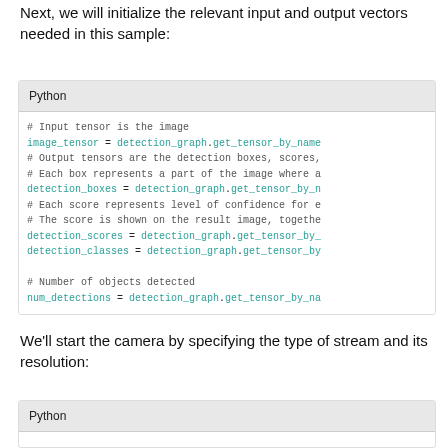Next, we will initialize the relevant input and output vectors needed in this sample:
[Figure (screenshot): Python code block showing initialization of image_tensor, detection_boxes, detection_scores, detection_classes, and num_detections variables using detection_graph.get_tensor_by_name()]
We'll start the camera by specifying the type of stream and its resolution:
[Figure (screenshot): Python code block header (partial)]